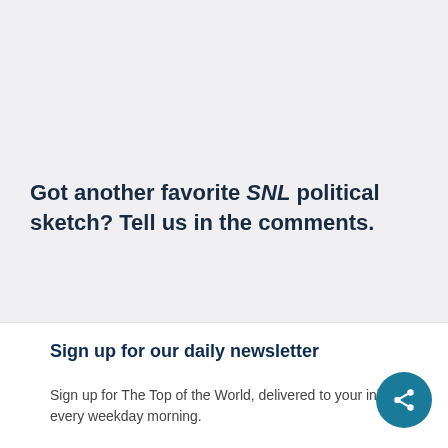Got another favorite SNL political sketch? Tell us in the comments.
Sign up for our daily newsletter
Sign up for The Top of the World, delivered to your inbox every weekday morning.